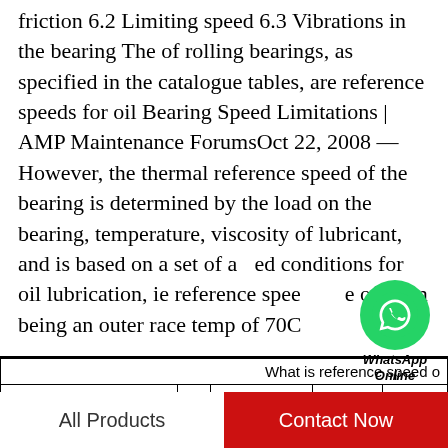friction 6.2 Limiting speed 6.3 Vibrations in the bearing The of rolling bearings, as specified in the catalogue tables, are reference speeds for oil Bearing Speed Limitations | AMP Maintenance ForumsOct 22, 2008 — However, the thermal reference speed of the bearing is determined by the load on the bearing, temperature, viscosity of lubricant, and is based on a set of assumed conditions for oil lubrication, ie reference speed, one of them being an outer race temp of 70C
[Figure (other): WhatsApp Online button overlay with green WhatsApp logo circle and italic bold text 'WhatsApp Online']
|  | d | EAN | Noun | Brand |
| --- | --- | --- | --- | --- |
| M88048 | - | - | Bearing | - |
What is reference speed o
All Products
Contact Now